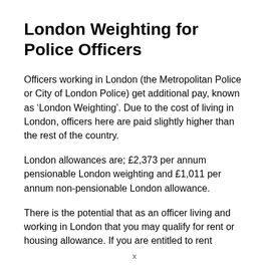London Weighting for Police Officers
Officers working in London (the Metropolitan Police or City of London Police) get additional pay, known as ‘London Weighting’. Due to the cost of living in London, officers here are paid slightly higher than the rest of the country.
London allowances are; £2,373 per annum pensionable London weighting and £1,011 per annum non-pensionable London allowance.
There is the potential that as an officer living and working in London that you may qualify for rent or housing allowance. If you are entitled to rent...
x